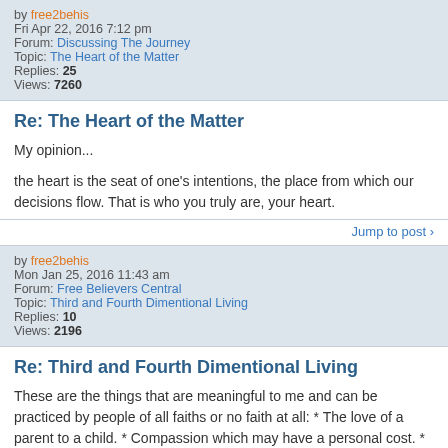by free2behis
Fri Apr 22, 2016 7:12 pm
Forum: Discussing The Journey
Topic: The Heart of the Matter
Replies: 25
Views: 7260
Re: The Heart of the Matter
My opinion...

the heart is the seat of one's intentions, the place from which our decisions flow. That is who you truly are, your heart.
Jump to post
by free2behis
Mon Jan 25, 2016 11:43 am
Forum: Free Believers Central
Topic: Third and Fourth Dimentional Living
Replies: 10
Views: 2196
Re: Third and Fourth Dimentional Living
These are the things that are meaningful to me and can be practiced by people of all faiths or no faith at all: * The love of a parent to a child. * Compassion which may have a personal cost. * Steadfastness when the going gets tough. * Humility towards others. * Being able to forgive even when it ...
Jump to post